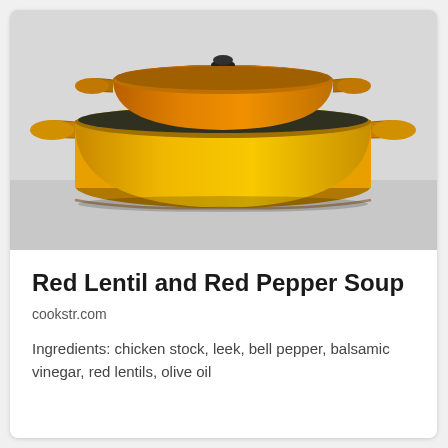[Figure (photo): Two stacked yellow/orange enamel cast iron Dutch oven pots on a light grey surface. The bottom pot is a bright yellow, larger pot; the top is a smaller orange-toned pot with a dark lid knob.]
Red Lentil and Red Pepper Soup
cookstr.com
Ingredients: chicken stock, leek, bell pepper, balsamic vinegar, red lentils, olive oil